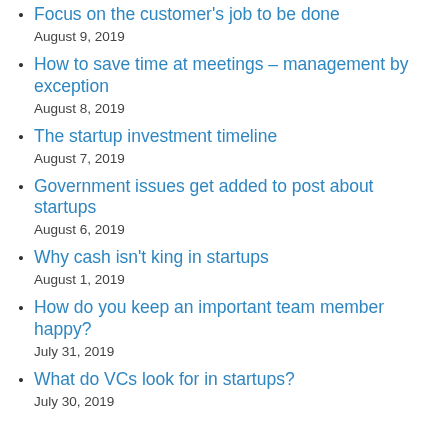Focus on the customer's job to be done
August 9, 2019
How to save time at meetings – management by exception
August 8, 2019
The startup investment timeline
August 7, 2019
Government issues get added to post about startups
August 6, 2019
Why cash isn't king in startups
August 1, 2019
How do you keep an important team member happy?
July 31, 2019
What do VCs look for in startups?
July 30, 2019